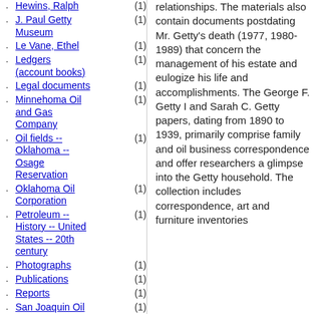Hewins, Ralph (1)
J. Paul Getty Museum (1)
Le Vane, Ethel (1)
Ledgers (account books) (1)
Legal documents (1)
Minnehoma Oil and Gas Company (1)
Oil fields -- Oklahoma -- Osage Reservation (1)
Oklahoma Oil Corporation (1)
Petroleum -- History -- United States -- 20th century (1)
Photographs (1)
Publications (1)
Reports (1)
San Joaquin Oil Company (1)
relationships. The materials also contain documents postdating Mr. Getty's death (1977, 1980-1989) that concern the management of his estate and eulogize his life and accomplishments. The George F. Getty I and Sarah C. Getty papers, dating from 1890 to 1939, primarily comprise family and oil business correspondence and offer researchers a glimpse into the Getty household. The collection includes correspondence, art and furniture inventories